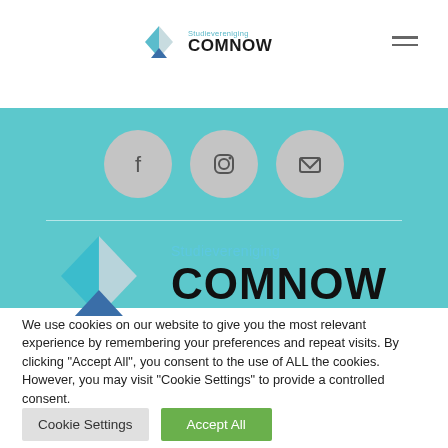[Figure (logo): Studievereniging COMNOW logo in header navigation bar with hamburger menu icon]
[Figure (infographic): Teal hero banner with three grey circular social media icons (Facebook, Instagram, Email) and horizontal divider line, plus large Studievereniging COMNOW logo]
We use cookies on our website to give you the most relevant experience by remembering your preferences and repeat visits. By clicking "Accept All", you consent to the use of ALL the cookies. However, you may visit "Cookie Settings" to provide a controlled consent.
Cookie Settings
Accept All